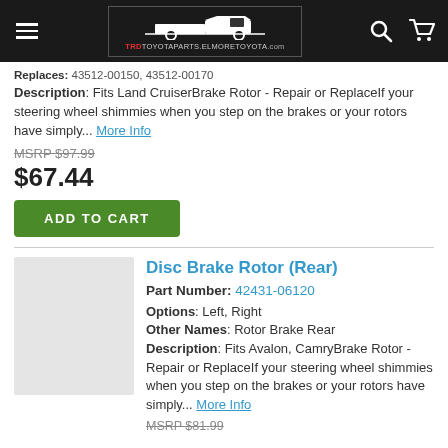TRD TOYOTAPARTS.ELMORETOYOTA.com
Replaces: 43512-00150, 43512-00170
Description: Fits Land CruiserBrake Rotor - Repair or ReplaceIf your steering wheel shimmies when you step on the brakes or your rotors have simply... More Info
MSRP $97.99
$67.44
ADD TO CART
Disc Brake Rotor (Rear)
Part Number: 42431-06120
Options: Left, Right
Other Names: Rotor Brake Rear
Description: Fits Avalon, CamryBrake Rotor - Repair or ReplaceIf your steering wheel shimmies when you step on the brakes or your rotors have simply... More Info
MSRP $81.99